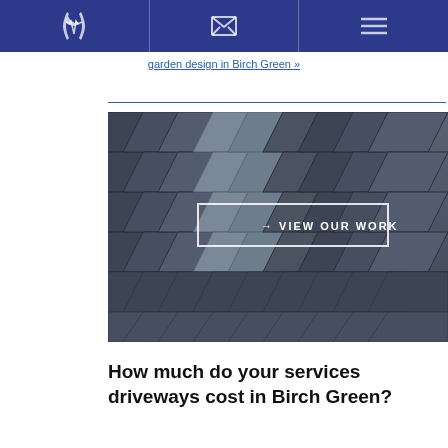[navigation bar with phone, email, and menu icons]
garden design in Birch Green »
[Figure (photo): Close-up photograph of dark grey paving stones/block paving laid in a pattern, with a 'VIEW OUR WORK' button overlay in the center]
How much do your services driveways cost in Birch Green?